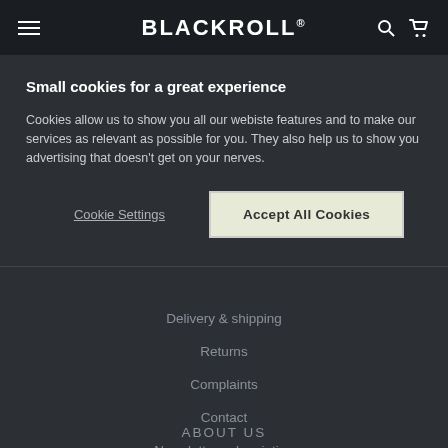BLACKROLL® [hamburger menu, search, cart icons]
Small cookies for a great experience
Cookies allow us to show you all our webiste features and to make our services as relevant as possible for you. They also help us to show you advertising that doesn't get on your nerves.
Cookie Settings | Accept All Cookies
Delivery & shipping
Returns
Complaints
Contact
Newsletter subscription
ABOUT US